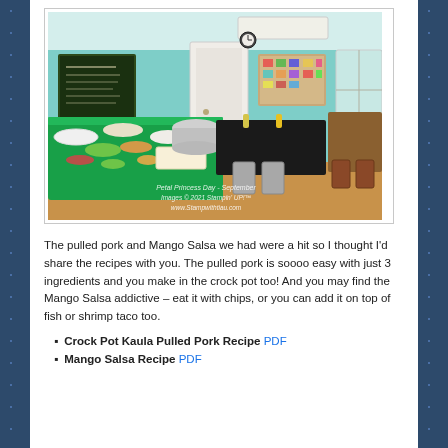[Figure (photo): Indoor room with teal/mint green walls. A green tablecloth-covered table on the left holds multiple bowls of food and dishes. Black tablecloth tables with folding chairs are in the center and right. A chalkboard sign hangs on the left wall, a bulletin board on the right wall. Watermark text reads: 'Petal Princess Day - September, Images © 2021 Stampin' UP!, www.Stampwithtiau.com']
The pulled pork and Mango Salsa we had were a hit so I thought I'd share the recipes with you. The pulled pork is soooo easy with just 3 ingredients and you make in the crock pot too! And you may find the Mango Salsa addictive – eat it with chips, or you can add it on top of fish or shrimp taco too.
Crock Pot Kaula Pulled Pork Recipe PDF
Mango Salsa Recipe PDF